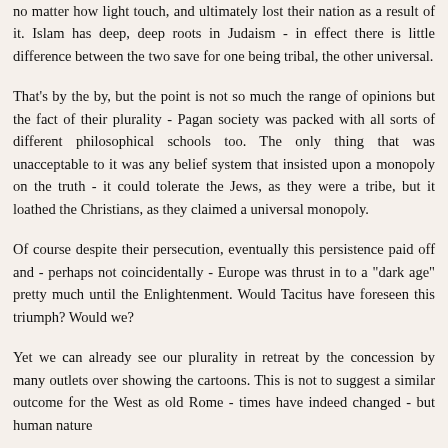no matter how light touch, and ultimately lost their nation as a result of it. Islam has deep, deep roots in Judaism - in effect there is little difference between the two save for one being tribal, the other universal.
That's by the by, but the point is not so much the range of opinions but the fact of their plurality - Pagan society was packed with all sorts of different philosophical schools too. The only thing that was unacceptable to it was any belief system that insisted upon a monopoly on the truth - it could tolerate the Jews, as they were a tribe, but it loathed the Christians, as they claimed a universal monopoly.
Of course despite their persecution, eventually this persistence paid off and - perhaps not coincidentally - Europe was thrust in to a "dark age" pretty much until the Enlightenment. Would Tacitus have foreseen this triumph? Would we?
Yet we can already see our plurality in retreat by the concession by many outlets over showing the cartoons. This is not to suggest a similar outcome for the West as old Rome - times have indeed changed - but human nature